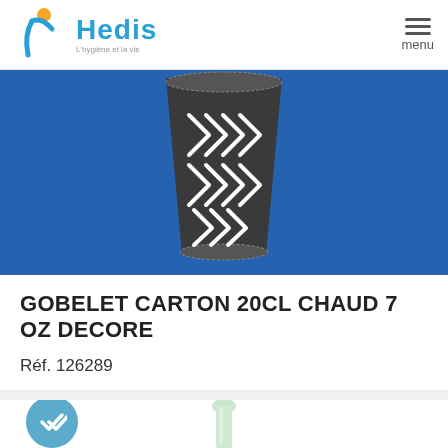Hedis - L'hygiène et la vie
[Figure (photo): Photo of a dark grey decorated cardboard hot cup (7 oz) on a blue background, showing chevron/feather white pattern design]
GOBELET CARTON 20CL CHAUD 7 OZ DECORE
Réf. 126289
[Figure (photo): Bottom of second product card showing a pale green straw/stick product with a rounded cap, white background, with a blue circular checkmark badge on the left]